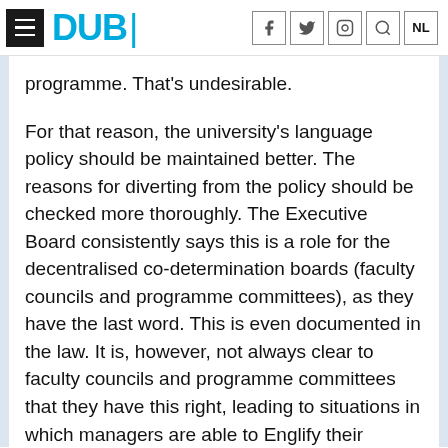DUB
programme. That’s undesirable.
For that reason, the university’s language policy should be maintained better. The reasons for diverting from the policy should be checked more thoroughly. The Executive Board consistently says this is a role for the decentralised co-determination boards (faculty councils and programme committees), as they have the last word. This is even documented in the law. It is, however, not always clear to faculty councils and programme committees that they have this right, leading to situations in which managers are able to Englify their programmes with weak arguments.